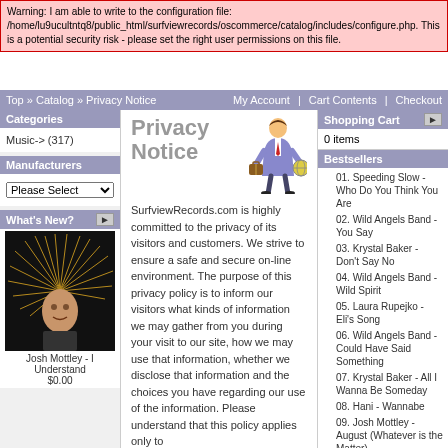Warning: I am able to write to the configuration file: /home/lu9ucultntq8/public_html/surfviewrecords/oscommerce/catalog/includes/configure.php. This is a potential security risk - please set the right user permissions on this file.
Top » Catalog » Privacy Notice    My Account | Cart Contents | Checkout
Categories
Music-> (317)
Manufacturers
What's New?
[Figure (photo): Photo of Josh Mottley performing, hair flying, dark background]
Josh Mottley - I Understand
$0.00
Privacy Notice
SurfviewRecords.com is highly committed to the privacy of its visitors and customers. We strive to ensure a safe and secure on-line environment. The purpose of this privacy policy is to inform our visitors what kinds of information we may gather from you during your visit to our site, how we may use that information, whether we disclose that information and the choices you have regarding our use of the information. Please understand that this policy applies only to
Shopping Cart
0 items
Bestsellers
01. Speeding Slow - Who Do You Think You Are
02. Wild Angels Band - You Say
03. Krystal Baker - Don't Say No
04. Wild Angels Band - Wild Spirit
05. Laura Rupejko - Eli's Song
06. Wild Angels Band - Could Have Said Something
07. Krystal Baker - All I Wanna Be Someday
08. Hani - Wannabe
09. Josh Mottley - August (Whatever is the Matter)
10. Josh Mottley - Gather For The